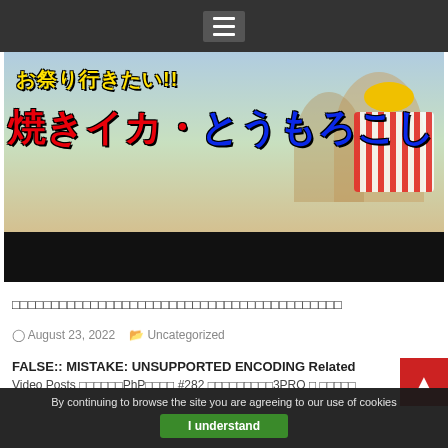Navigation menu (hamburger icon)
[Figure (photo): Banner image showing children at a festival with Japanese text overlay: お祭り行きたい!! 焼きイカ・とうもろこし (Want to go to the festival!! Grilled squid and corn)]
□□□□□□□□□□□□□□□□□□□□□□□□□□□□□□□□□□□□□□□□□□
August 23, 2022  Uncategorized
FALSE:: MISTAKE: UNSUPPORTED ENCODING Related Video Posts □□□□□□PhP□□□□ #282 □□□□□□□□□3PRO □ □□□□□
By continuing to browse the site you are agreeing to our use of cookies
I understand